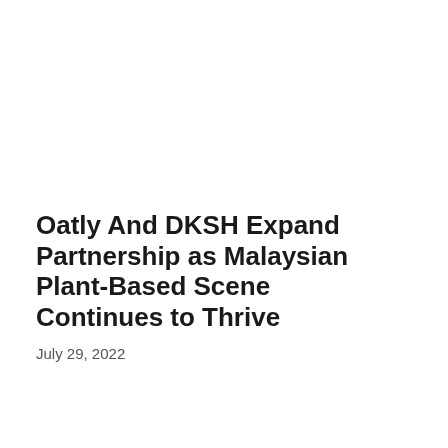Oatly And DKSH Expand Partnership as Malaysian Plant-Based Scene Continues to Thrive
July 29, 2022